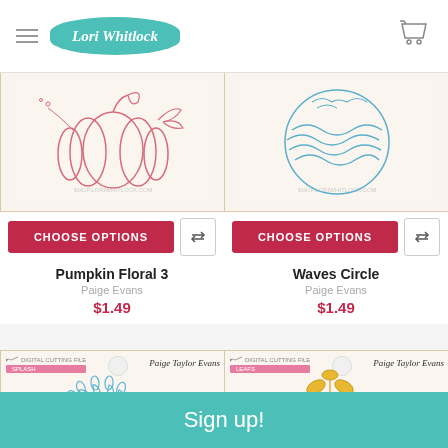Lori Whitlock
[Figure (illustration): Product card showing Pumpkin Floral 3 outline design in pink/coral on cream background with shop.loriwhitlock.com watermark]
CHOOSE OPTIONS
Pumpkin Floral 3
Paige Evans
$1.49
[Figure (illustration): Product card showing Waves Circle outline design in blue on cream background with shop.loriwhitlock.com watermark]
CHOOSE OPTIONS
Waves Circle
Paige Evans
$1.49
[Figure (illustration): Digital cutting file package for Splash design by Paige Taylor Evans, showing blue splash/floral burst illustration]
[Figure (illustration): Digital cutting file package for Leafs design by Paige Taylor Evans, showing golden/yellow botanical leaf branch illustration]
Sign up!